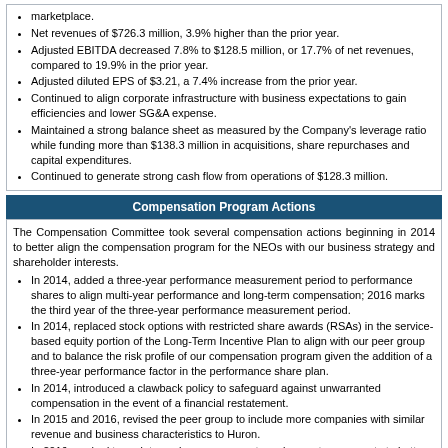marketplace.
Net revenues of $726.3 million, 3.9% higher than the prior year.
Adjusted EBITDA decreased 7.8% to $128.5 million, or 17.7% of net revenues, compared to 19.9% in the prior year.
Adjusted diluted EPS of $3.21, a 7.4% increase from the prior year.
Continued to align corporate infrastructure with business expectations to gain efficiencies and lower SG&A expense.
Maintained a strong balance sheet as measured by the Company's leverage ratio while funding more than $138.3 million in acquisitions, share repurchases and capital expenditures.
Continued to generate strong cash flow from operations of $128.3 million.
Compensation Program Actions
The Compensation Committee took several compensation actions beginning in 2014 to better align the compensation program for the NEOs with our business strategy and shareholder interests.
In 2014, added a three-year performance measurement period to performance shares to align multi-year performance and long-term compensation; 2016 marks the third year of the three-year performance measurement period.
In 2014, replaced stock options with restricted share awards (RSAs) in the service-based equity portion of the Long-Term Incentive Plan to align with our peer group and to balance the risk profile of our compensation program given the addition of a three-year performance factor in the performance share plan.
In 2014, introduced a clawback policy to safeguard against unwarranted compensation in the event of a financial restatement.
In 2015 and 2016, revised the peer group to include more companies with similar revenue and business characteristics to Huron.
In 2016, worked to update senior management employment agreements to better align with current market practices.